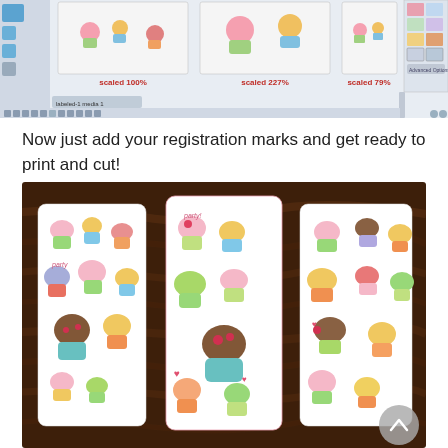[Figure (screenshot): Software screenshot showing three cupcake image thumbnails scaled at 100%, 227%, and 79%, with a panel on the right showing additional options, and a toolbar at the bottom.]
Now just add your registration marks and get ready to print and cut!
[Figure (photo): Photo of three printed cupcake-patterned cards laid on a dark wood surface. Each card shows colorful cupcake illustrations on a white background with rounded corners, showing three different scales/sizes of the print.]